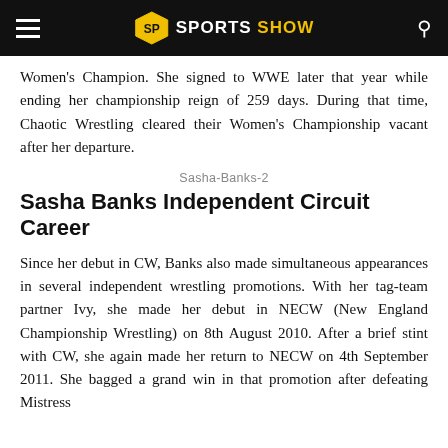SPORTS SHOW
Women's Champion. She signed to WWE later that year while ending her championship reign of 259 days. During that time, Chaotic Wrestling cleared their Women's Championship vacant after her departure.
Sasha-Banks-2
Sasha Banks Independent Circuit Career
Since her debut in CW, Banks also made simultaneous appearances in several independent wrestling promotions. With her tag-team partner Ivy, she made her debut in NECW (New England Championship Wrestling) on 8th August 2010. After a brief stint with CW, she again made her return to NECW on 4th September 2011. She bagged a grand win in that promotion after defeating Mistress